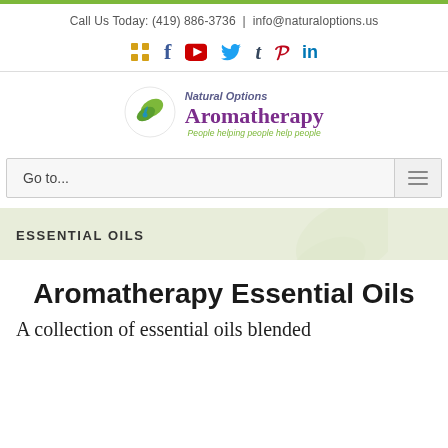Call Us Today: (419) 886-3736 | info@naturaloptions.us
[Figure (infographic): Social media icons row: grid/rss icon (yellow), Facebook (blue f), YouTube (red play button), Twitter (blue bird), Tumblr (dark t), Pinterest (red p), LinkedIn (blue in)]
[Figure (logo): Natural Options Aromatherapy logo with green leaf circle, purple text reading 'Natural Options Aromatherapy', green italic tagline 'People helping people help people']
Go to...
ESSENTIAL OILS
Aromatherapy Essential Oils
A collection of essential oils blended